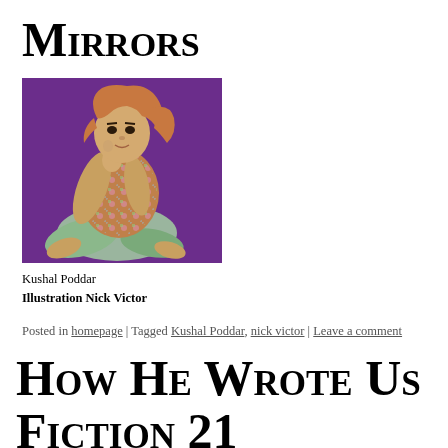Mirrors
[Figure (illustration): Illustration of a young woman with auburn hair, sitting in a contemplative pose, wearing a colorful patterned outfit, on a purple background. Illustration by Nick Victor.]
Kushal Poddar
Illustration Nick Victor
Posted in homepage | Tagged Kushal Poddar, nick victor | Leave a comment
How He Wrote Us
Fiction 21